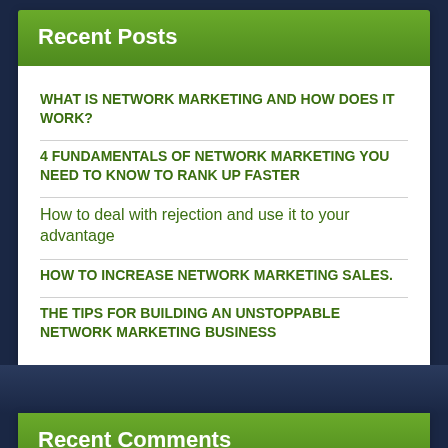Recent Posts
WHAT IS NETWORK MARKETING AND HOW DOES IT WORK?
4 FUNDAMENTALS OF NETWORK MARKETING YOU NEED TO KNOW TO RANK UP FASTER
How to deal with rejection and use it to your advantage
HOW TO INCREASE NETWORK MARKETING SALES.
THE TIPS FOR BUILDING AN UNSTOPPABLE NETWORK MARKETING BUSINESS
Recent Comments